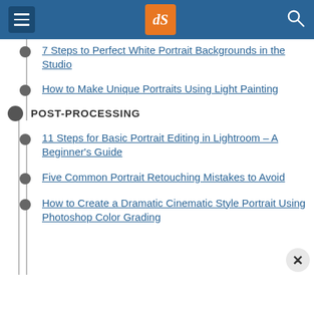dPS navigation menu header
7 Steps to Perfect White Portrait Backgrounds in the Studio
How to Make Unique Portraits Using Light Painting
POST-PROCESSING
11 Steps for Basic Portrait Editing in Lightroom – A Beginner's Guide
Five Common Portrait Retouching Mistakes to Avoid
How to Create a Dramatic Cinematic Style Portrait Using Photoshop Color Grading